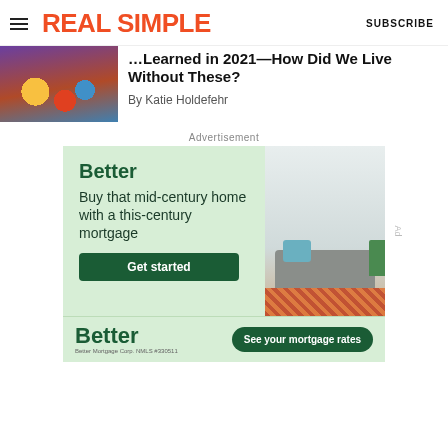REAL SIMPLE | SUBSCRIBE
Learned in 2021—How Did We Live Without These?
By Katie Holdefehr
Advertisement
[Figure (infographic): Better mortgage advertisement. Left panel: light green background with 'Better' logo in dark green, text 'Buy that mid-century home with a this-century mortgage', and a dark green 'Get started' button. Right panel: photo of a mid-century modern living room with a grey sofa, blue cushion, plant, and colorful rug.]
[Figure (infographic): Better mortgage bottom banner. Shows 'Better' logo on the left with 'Better Mortgage Corp. NMLS #330511' below, and a dark green 'See your mortgage rates' button on the right. Light green background.]